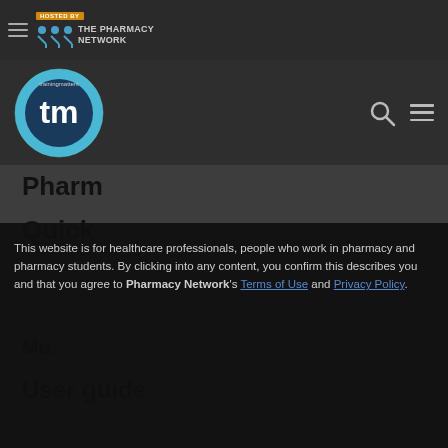[Figure (logo): The Pharmacy Network logo with hosted by label and hamburger menu icon]
[Figure (logo): Training Matters (tm) circular logo in blue with navigation search and hamburger icons]
Pharm
Quick
Trendi
Latest
Sponso
Mo...
Vi...
User guide
This website is for healthcare professionals, people who work in pharmacy and pharmacy students. By clicking into any content, you confirm this describes you and that you agree to Pharmacy Network's Terms of Use and Privacy Policy.